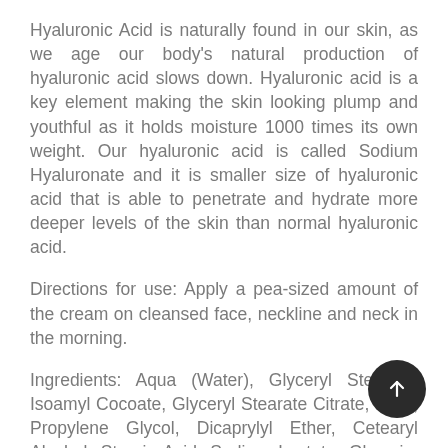Hyaluronic Acid is naturally found in our skin, as we age our body's natural production of hyaluronic acid slows down. Hyaluronic acid is a key element making the skin looking plump and youthful as it holds moisture 1000 times its own weight. Our hyaluronic acid is called Sodium Hyaluronate and it is smaller size of hyaluronic acid that is able to penetrate and hydrate more deeper levels of the skin than normal hyaluronic acid.
Directions for use: Apply a pea-sized amount of the cream on cleansed face, neckline and neck in the morning.
Ingredients: Aqua (Water), Glyceryl Stearate, Isoamyl Cocoate, Glyceryl Stearate Citrate, Urea, Propylene Glycol, Dicaprylyl Ether, Cetearyl Alcohol, Stearic Acid, Sodium Lactate, Glycerin, Squalane, Caprylic /Cap Triglycerde, Cichorium Intybus (Chicory) Root Extr Ascorbic Acid, Cyclopentasiloxane, Cyclohexasiloxane,